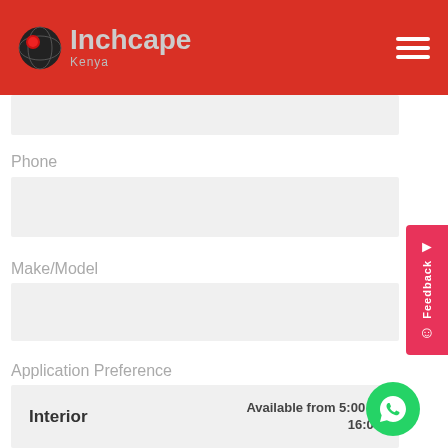[Figure (logo): Inchcape Kenya logo with globe icon on red header background]
Phone
Make/Model
Application Preference
Interior
Available from 5:00 to 16:00